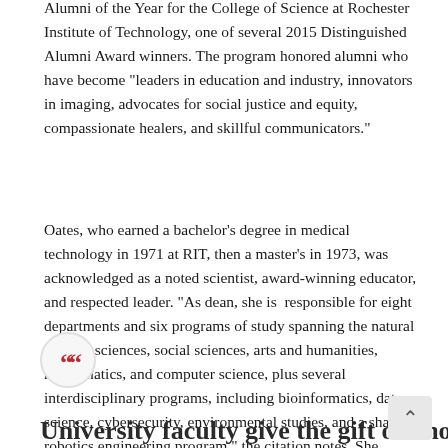Alumni of the Year for the College of Science at Rochester Institute of Technology, one of several 2015 Distinguished Alumni Award winners. The program honored alumni who have become "leaders in education and industry, innovators in imaging, advocates for social justice and equity, compassionate healers, and skillful communicators."
Oates, who earned a bachelor's degree in medical technology in 1971 at RIT, then a master's in 1973, was acknowledged as a noted scientist, award-winning educator, and respected leader. "As dean, she is responsible for eight departments and six programs of study spanning the natural and life sciences, social sciences, arts and humanities, mathematics, and computer science, plus several interdisciplinary programs, including bioinformatics, data science, cybersecurity, environmental studies, and a shared robotics engineering program," the citation notes. She received her PhD in biochemistry from George Washington University.
University faculty give the gift of knowledge